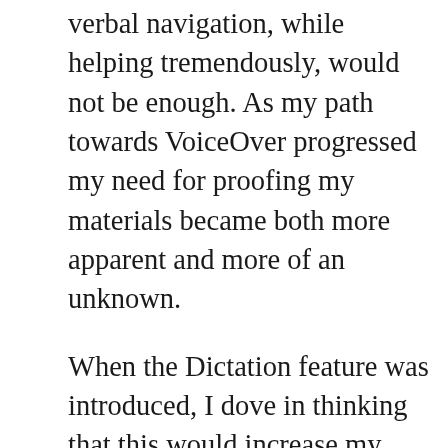verbal navigation, while helping tremendously, would not be enough. As my path towards VoiceOver progressed my need for proofing my materials became both more apparent and more of an unknown.
When the Dictation feature was introduced, I dove in thinking that this would increase my writing speeds immensely, which it did. Unfortunately, it also increased my need for proof-reading as well. I